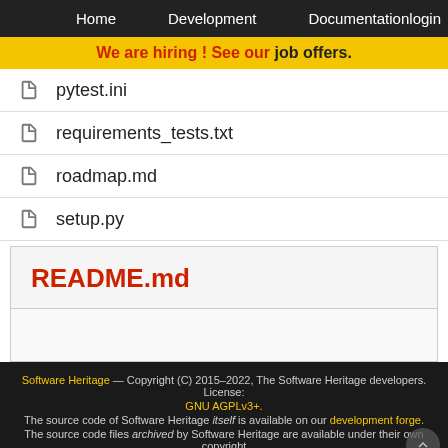Home   Development   Documentation   login
We are hiring ! See our job offers.
pytest.ini
requirements_tests.txt
roadmap.md
setup.py
README.md
Software Heritage — Copyright (C) 2015–2022, The Software Heritage developers. License: GNU AGPLv3+. The source code of Software Heritage itself is available on our development forge. The source code files archived by Software Heritage are available under their own copyright and licenses. Terms of use: Archive access, API- Contact- JavaScript license information- Web API